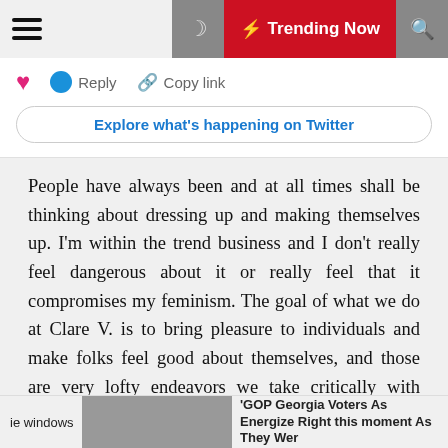[Figure (screenshot): Top navigation bar with hamburger menu, moon icon, red Trending Now button with lightning bolt, and search icon]
[Figure (screenshot): Twitter card with heart, Reply, Copy link buttons and an Explore what's happening on Twitter button]
People have always been and at all times shall be thinking about dressing up and making themselves up. I'm within the trend business and I don't really feel dangerous about it or really feel that it compromises my feminism. The goal of what we do at Clare V. is to bring pleasure to individuals and make folks feel good about themselves, and those are very lofty endeavors we take critically with equality, a red lip, and a cute bag. Colorism can be outlined as the discrimination or unjust remedy of people inside the same racial or ethnic group or community based on the shade of 1's colour. Colorism can also affect Latin Americans, East Asians, South Asians, and even
ie windows   'GOP Georgia Voters As Energize Right this moment As They Wer